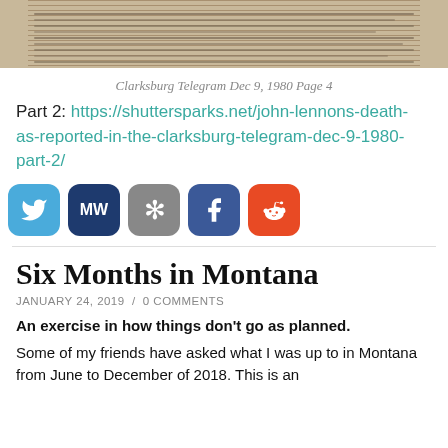[Figure (photo): Cropped newspaper clipping showing columns of text from the Clarksburg Telegram]
Clarksburg Telegram Dec 9, 1980 Page 4
Part 2: https://shuttersparks.net/john-lennons-death-as-reported-in-the-clarksburg-telegram-dec-9-1980-part-2/
[Figure (infographic): Row of social media share buttons: Twitter, MeWe, Micro.blog, Facebook, Reddit]
Six Months in Montana
JANUARY 24, 2019  /  0 COMMENTS
An exercise in how things don't go as planned.
Some of my friends have asked what I was up to in Montana from June to December of 2018. This is an